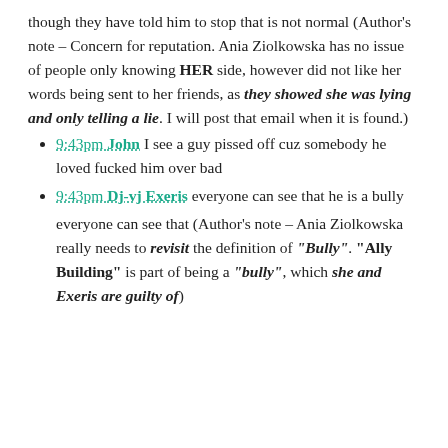though they have told him to stop that is not normal (Author's note – Concern for reputation. Ania Ziolkowska has no issue of people only knowing HER side, however did not like her words being sent to her friends, as they showed she was lying and only telling a lie. I will post that email when it is found.)
9:43pm John I see a guy pissed off cuz somebody he loved fucked him over bad
9:43pm Dj-vj Exeris everyone can see that he is a bully
everyone can see that (Author's note – Ania Ziolkowska really needs to revisit the definition of "Bully". "Ally Building" is part of being a "bully", which she and Exeris are guilty of)